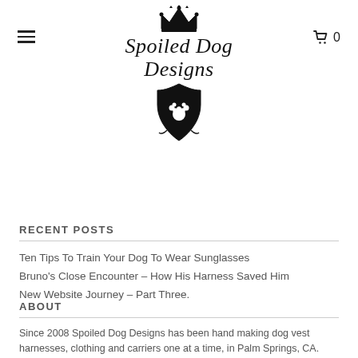[Figure (logo): Spoiled Dog Designs logo with crown icon above the brand name in italic script, and a shield with paw print below]
RECENT POSTS
Ten Tips To Train Your Dog To Wear Sunglasses
Bruno's Close Encounter – How His Harness Saved Him
New Website Journey – Part Three.
ABOUT
Since 2008 Spoiled Dog Designs has been hand making dog vest harnesses, clothing and carriers one at a time, in Palm Springs, CA. They've grown, added some brand named products and had a Paw-Some time with lots of wagging tails and puppy kisses. Read their About Us page to learn more about how it all began, what they're about and who they are.